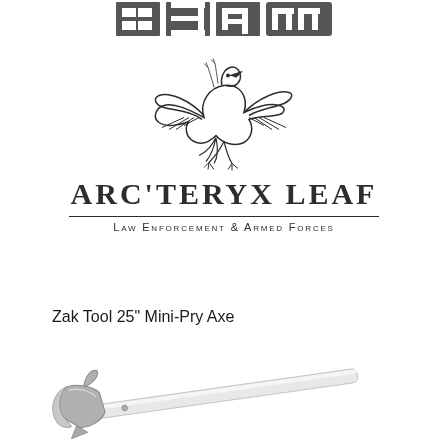[Figure (logo): SMLE-style block logo at top of page, dark gray stylized text]
[Figure (logo): Arc'teryx LEAF logo with bird/pterodactyl illustration above text 'ARC'TERYX LEAF' and subtitle 'LAW ENFORCEMENT & ARMED FORCES']
Zak Tool 25" Mini-Pry Axe
[Figure (photo): Photo of a Zak Tool 25 inch Mini-Pry Axe - a metallic pry axe tool with a silver/white handle and axe head, shown diagonally]